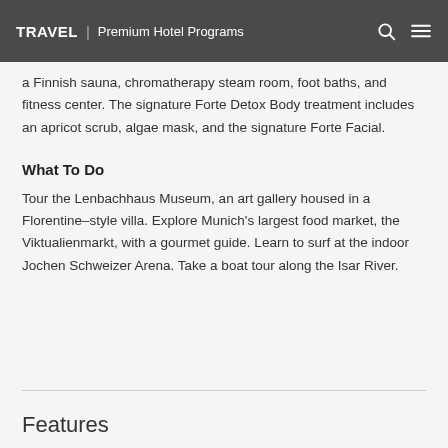TRAVEL | Premium Hotel Programs
a Finnish sauna, chromatherapy steam room, foot baths, and fitness center. The signature Forte Detox Body treatment includes an apricot scrub, algae mask, and the signature Forte Facial.
What To Do
Tour the Lenbachhaus Museum, an art gallery housed in a Florentine–style villa. Explore Munich's largest food market, the Viktualienmarkt, with a gourmet guide. Learn to surf at the indoor Jochen Schweizer Arena. Take a boat tour along the Isar River.
Features